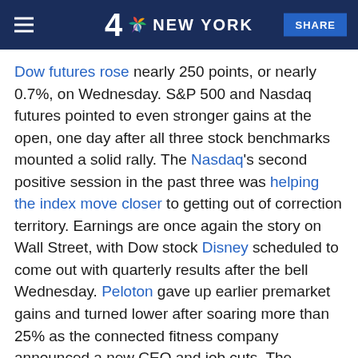4 NBC NEW YORK | SHARE
Dow futures rose nearly 250 points, or nearly 0.7%, on Wednesday. S&P 500 and Nasdaq futures pointed to even stronger gains at the open, one day after all three stock benchmarks mounted a solid rally. The Nasdaq's second positive session in the past three was helping the index move closer to getting out of correction territory. Earnings are once again the story on Wall Street, with Dow stock Disney scheduled to come out with quarterly results after the bell Wednesday. Peloton gave up earlier premarket gains and turned lower after soaring more than 25% as the connected fitness company announced a new CEO and job cuts. The embattled stock was still down roughly 75% from its all-time high nearly a year ago.
Tech stocks, which were slammed by rising bond yields last